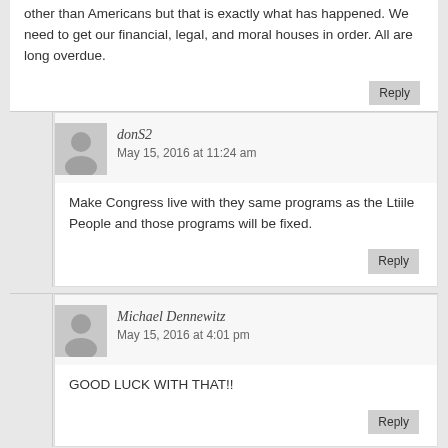other than Americans but that is exactly what has happened. We need to get our financial, legal, and moral houses in order. All are long overdue.
Reply
donS2
May 15, 2016 at 11:24 am
Make Congress live with they same programs as the Ltiile People and those programs will be fixed.
Reply
Michael Dennewitz
May 15, 2016 at 4:01 pm
GOOD LUCK WITH THAT!!
Reply
Apolloone
May 16, 2016 at 12:12 am